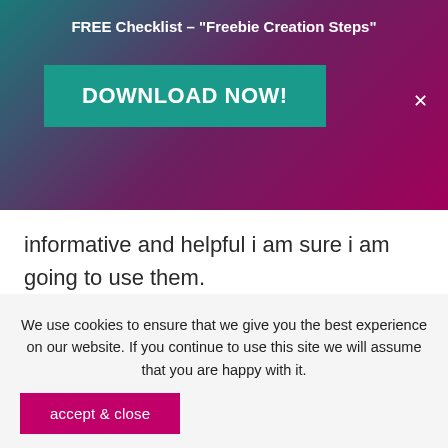FREE Checklist – "Freebie Creation Steps"
DOWNLOAD NOW!
informative and helpful i am sure i am going to use them.
Reply
SHAH NOMAAN
JANUARY 11, AT
We use cookies to ensure that we give you the best experience on our website. If you continue to use this site we will assume that you are happy with it.
accept & close